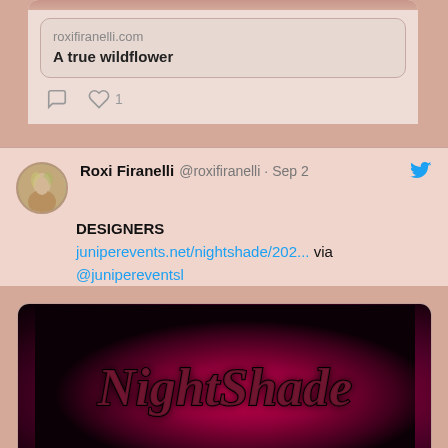roxifiranelli.com
A true wildflower
Roxi Firanelli @roxifiranelli · Sep 2
DESIGNERS
juniperevents.net/nightshade/202... via @junipereventsl
[Figure (photo): NightShade event promotional image with stylized text on dark purple-red background]
juniperevents.net
DESIGNERS